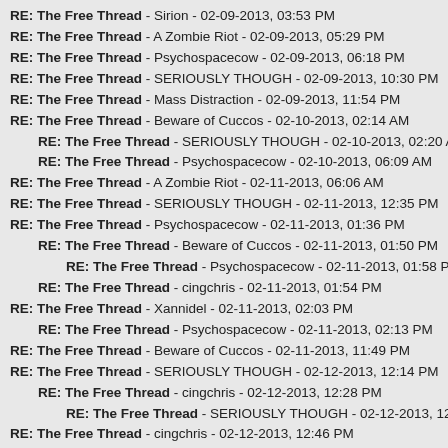RE: The Free Thread - Sirion - 02-09-2013, 03:53 PM
RE: The Free Thread - A Zombie Riot - 02-09-2013, 05:29 PM
RE: The Free Thread - Psychospacecow - 02-09-2013, 06:18 PM
RE: The Free Thread - SERIOUSLY THOUGH - 02-09-2013, 10:30 PM
RE: The Free Thread - Mass Distraction - 02-09-2013, 11:54 PM
RE: The Free Thread - Beware of Cuccos - 02-10-2013, 02:14 AM
RE: The Free Thread - SERIOUSLY THOUGH - 02-10-2013, 02:20 AM (indent1)
RE: The Free Thread - Psychospacecow - 02-10-2013, 06:09 AM (indent1)
RE: The Free Thread - A Zombie Riot - 02-11-2013, 06:06 AM
RE: The Free Thread - SERIOUSLY THOUGH - 02-11-2013, 12:35 PM
RE: The Free Thread - Psychospacecow - 02-11-2013, 01:36 PM
RE: The Free Thread - Beware of Cuccos - 02-11-2013, 01:50 PM (indent1)
RE: The Free Thread - Psychospacecow - 02-11-2013, 01:58 PM (indent2)
RE: The Free Thread - cingchris - 02-11-2013, 01:54 PM (indent1)
RE: The Free Thread - Xannidel - 02-11-2013, 02:03 PM
RE: The Free Thread - Psychospacecow - 02-11-2013, 02:13 PM (indent1)
RE: The Free Thread - Beware of Cuccos - 02-11-2013, 11:49 PM
RE: The Free Thread - SERIOUSLY THOUGH - 02-12-2013, 12:14 PM
RE: The Free Thread - cingchris - 02-12-2013, 12:28 PM (indent1)
RE: The Free Thread - SERIOUSLY THOUGH - 02-12-2013, 12:33 PM (indent2)
RE: The Free Thread - cingchris - 02-12-2013, 12:46 PM
RE: The Free Thread - SERIOUSLY THOUGH - 02-12-2013, 10:07 PM (indent1)
RE: The Free Thread - BumblebeeCody - 02-13-2013, 01:04 AM (indent2)
RE: The Free Thread - SERIOUSLY THOUGH - 02-13-2013, 06:29 AM (indent3)
RE: The Free Thread - BumblebeeCody - 02-13-2013, 06:35 AM (indent2)